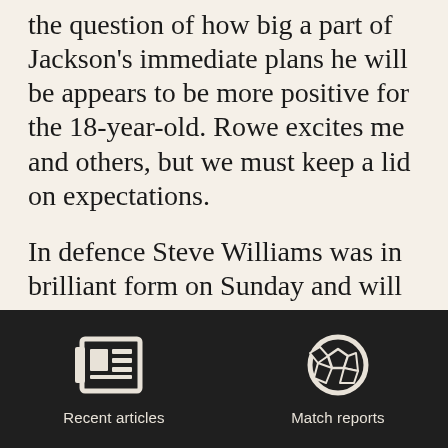the question of how big a part of Jackson's immediate plans he will be appears to be more positive for the 18-year-old. Rowe excites me and others, but we must keep a lid on expectations.

In defence Steve Williams was in brilliant form on Sunday and will hopefully be boosted by the confidence it must have offered.
[Figure (infographic): Dark footer bar with two navigation icons: a newspaper/articles icon labeled 'Recent articles' and a soccer ball icon labeled 'Match reports']